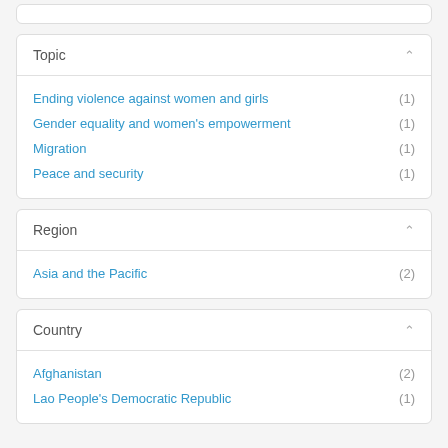Topic
Ending violence against women and girls (1)
Gender equality and women's empowerment (1)
Migration (1)
Peace and security (1)
Region
Asia and the Pacific (2)
Country
Afghanistan (2)
Lao People's Democratic Republic (1)